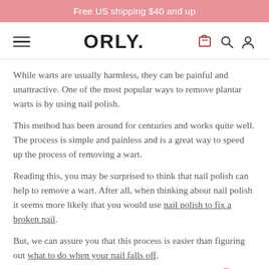Free US shipping $40 and up
[Figure (logo): ORLY brand logo with hamburger menu, cart, search, and user icons]
While warts are usually harmless, they can be painful and unattractive. One of the most popular ways to remove plantar warts is by using nail polish.
This method has been around for centuries and works quite well. The process is simple and painless and is a great way to speed up the process of removing a wart.
Reading this, you may be surprised to think that nail polish can help to remove a wart. After all, when thinking about nail polish it seems more likely that you would use nail polish to fix a broken nail.
But, we can assure you that this process is easier than figuring out what to do when your nail falls off.
In this article, we will be discussing a step-by-step on to get rid of plantar warts with nail polish.